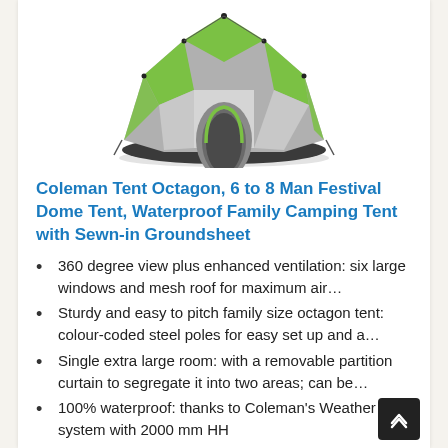[Figure (photo): Coleman Octagon tent product photo — green and grey dome-shaped octagonal camping tent on white background]
Coleman Tent Octagon, 6 to 8 Man Festival Dome Tent, Waterproof Family Camping Tent with Sewn-in Groundsheet
360 degree view plus enhanced ventilation: six large windows and mesh roof for maximum air…
Sturdy and easy to pitch family size octagon tent: colour-coded steel poles for easy set up and a…
Single extra large room: with a removable partition curtain to segregate it into two areas; can be…
100% waterproof: thanks to Coleman's Weather Tec system with 2000 mm HH